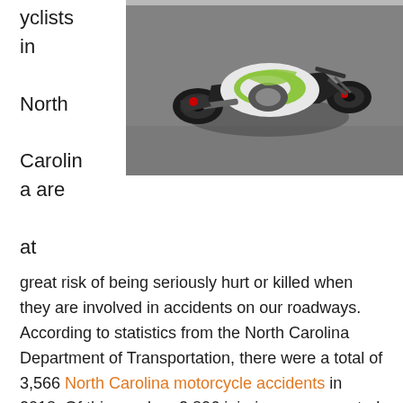yclists in North Carolina are at
[Figure (photo): A motorcycle lying on its side on a road after an accident, with green and white coloring, viewed from above at an angle.]
great risk of being seriously hurt or killed when they are involved in accidents on our roadways. According to statistics from the North Carolina Department of Transportation, there were a total of 3,566 North Carolina motorcycle accidents in 2018. Of this number, 2,806 injuries were reported and 176 motorcyclists tragically lost their lives. Motorcycles offer little protection from the force and the impact of a traffic collision and motorcyclists often take the worst of the impact. Compared with traditional vehicles,